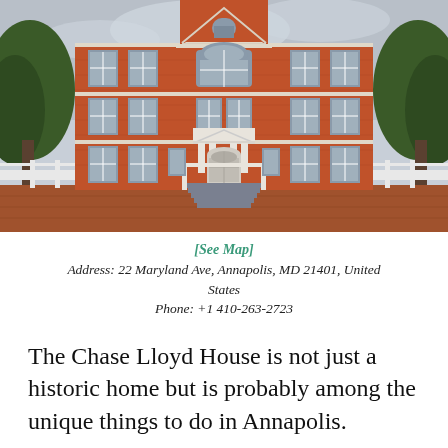[Figure (photo): Exterior photograph of Chase Lloyd House, a large three-story red brick Georgian colonial building with white trim, a white picket fence in the foreground, symmetrical windows, a white columned entrance portico with steps, trees on either side, and a triangular pediment at the top center.]
[See Map]
Address: 22 Maryland Ave, Annapolis, MD 21401, United States
Phone: +1 410-263-2723
The Chase Lloyd House is not just a historic home but is probably among the unique things to do in Annapolis.